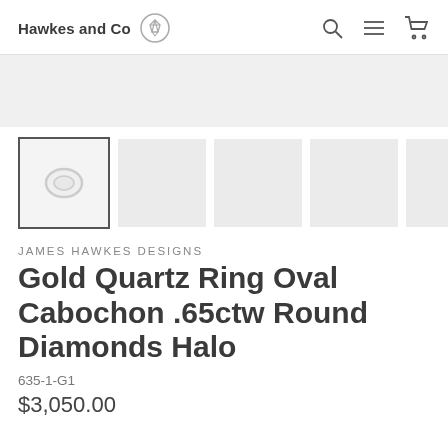Hawkes and Co
[Figure (screenshot): Main product image area showing a large light gray rectangle (partially visible), followed by a row of five thumbnail images. The first thumbnail has a border/selection indicator and shows a faint oval cabochon ring image. The remaining four thumbnails are plain light gray rectangles.]
JAMES HAWKES DESIGNS
Gold Quartz Ring Oval Cabochon .65ctw Round Diamonds Halo
635-1-G1
$3,050.00